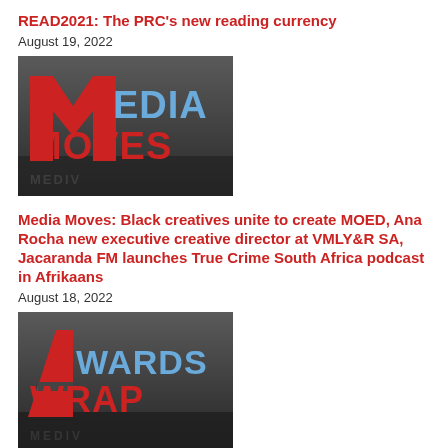READ2021: The PRC's new reading currency
August 19, 2022
[Figure (logo): Media Moves logo — stylized text MEDIA MOVES in blue and red 3D lettering on dark grey gradient background]
Media Moves: Black creatives unite to create MOED, Ana Rocha new executive creative director at VMLY&R SA, Jacaranda FM launches True Crime South Africa podcast in Afrikaans
August 18, 2022
[Figure (logo): Awards Wrap logo — stylized text AWARDS WRAP in blue and red 3D lettering on dark grey gradient background]
Awards Wrap: Effie tickets on sale, New Media wins